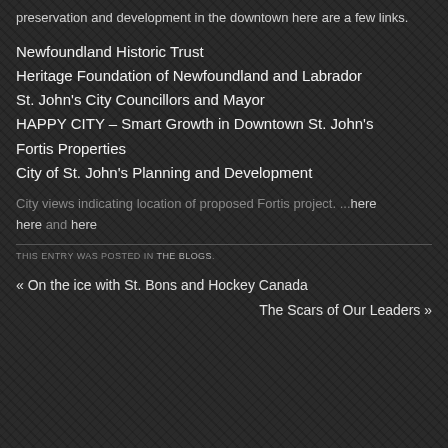preservation and development in the downtown here are a few links.
Newfoundland Historic Trust
Heritage Foundation of Newfoundland and Labrador
St. John's City Councillors and Mayor
HAPPY CITY – Smart Growth in Downtown St. John's
Fortis Properties
City of St. John's Planning and Development
City views indicating location of proposed Fortis project. ...here here and here
THIS ENTRY WAS POSTED IN THE BLOGS.
« On the ice with St. Bons and Hockey Canada
The Scars of Our Leaders »